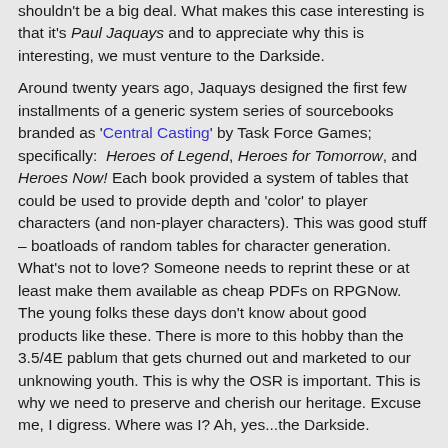shouldn't be a big deal. What makes this case interesting is that it's Paul Jaquays and to appreciate why this is interesting, we must venture to the Darkside.
Around twenty years ago, Jaquays designed the first few installments of a generic system series of sourcebooks branded as 'Central Casting' by Task Force Games; specifically: Heroes of Legend, Heroes for Tomorrow, and Heroes Now! Each book provided a system of tables that could be used to provide depth and 'color' to player characters (and non-player characters). This was good stuff – boatloads of random tables for character generation. What's not to love? Someone needs to reprint these or at least make them available as cheap PDFs on RPGNow. The young folks these days don't know about good products like these. There is more to this hobby than the 3.5/4E pablum that gets churned out and marketed to our unknowing youth. This is why the OSR is important. This is why we need to preserve and cherish our heritage. Excuse me, I digress. Where was I? Ah, yes...the Darkside.
Via the tables, characters could acquire personality traits. Pleasant and worthwhile traits were called Lightside. Unpleasant or immoral traits were called Darkside, representing the baser aspects of humanity (or, one assumes, other species). Starting with the second book,